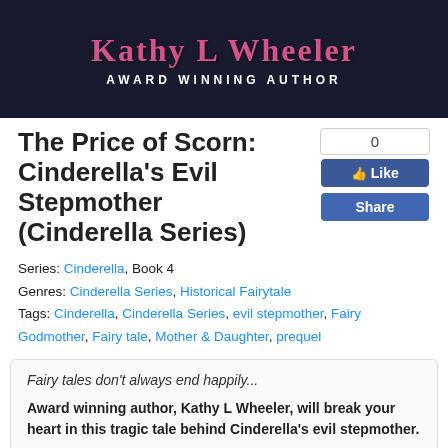[Figure (illustration): Dark navy banner with 'Kathy L Wheeler' in pink decorative serif font and 'AWARD WINNING AUTHOR' in white spaced caps below]
The Price of Scorn: Cinderella's Evil Stepmother (Cinderella Series)
Series: Cinderella, Book 4
Genres: Cinderella Series, Historical Fairytale
Tags: Cinderella, Cinderella Series, evil stepmother, Fairy Godmother, Fairy tale, Mother & Daughter, prequel
Fairy tales don't always end happily...

Award winning author, Kathy L Wheeler, will break your heart in this tragic tale behind Cinderella's evil stepmother.